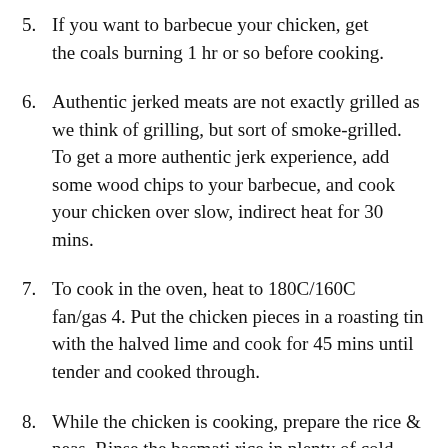5. If you want to barbecue your chicken, get the coals burning 1 hr or so before cooking.
6. Authentic jerked meats are not exactly grilled as we think of grilling, but sort of smoke-grilled. To get a more authentic jerk experience, add some wood chips to your barbecue, and cook your chicken over slow, indirect heat for 30 mins.
7. To cook in the oven, heat to 180C/160C fan/gas 4. Put the chicken pieces in a roasting tin with the halved lime and cook for 45 mins until tender and cooked through.
8. While the chicken is cooking, prepare the rice & peas. Rinse the basmati rice in plenty of cold water